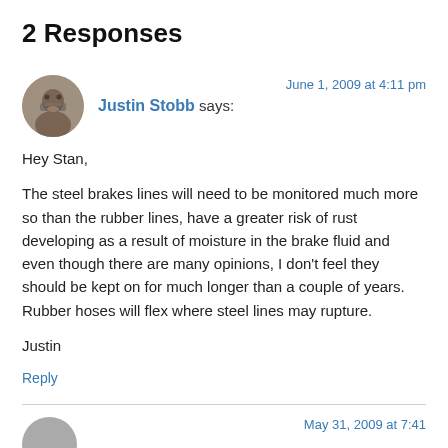2 Responses
Justin Stobb says:
June 1, 2009 at 4:11 pm
Hey Stan,

The steel brakes lines will need to be monitored much more so than the rubber lines, have a greater risk of rust developing as a result of moisture in the brake fluid and even though there are many opinions, I don't feel they should be kept on for much longer than a couple of years. Rubber hoses will flex where steel lines may rupture.

Justin
Reply
May 31, 2009 at 7:41